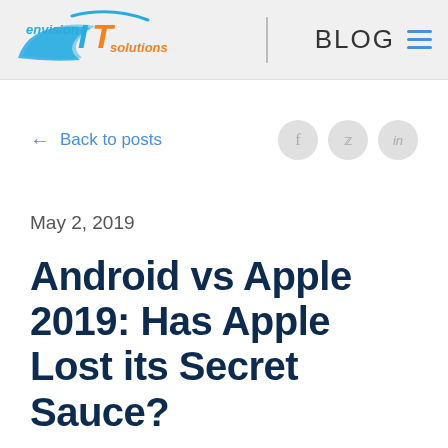envision IT solutions | BLOG
← Back to posts
May 2, 2019
Android vs Apple 2019: Has Apple Lost its Secret Sauce?